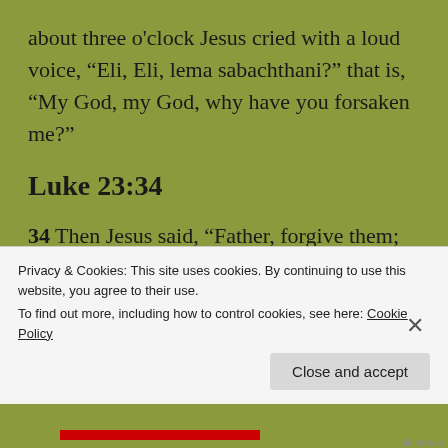about three o'clock Jesus cried with a loud voice, “Eli, Eli, lema sabachthani?” that is, “My God, my God, why have you forsaken me?”
Luke 23:34
34 Then Jesus said, “Father, forgive them; for they do not know what they are doing.” And they cast lots to divide his clothing.
Privacy & Cookies: This site uses cookies. By continuing to use this website, you agree to their use.
To find out more, including how to control cookies, see here: Cookie Policy